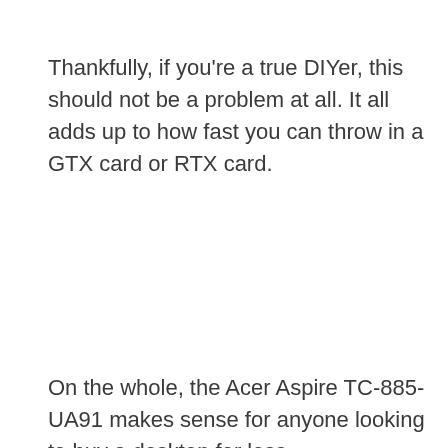Thankfully, if you're a true DIYer, this should not be a problem at all. It all adds up to how fast you can throw in a GTX card or RTX card.
On the whole, the Acer Aspire TC-885-UA91 makes sense for anyone looking to buy a desktop for less